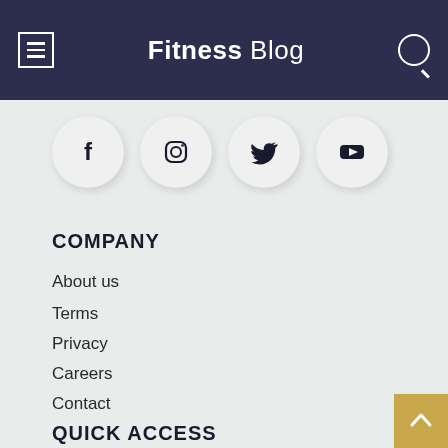Fitness Blog
[Figure (infographic): Four social media icons in circles: Facebook, Instagram, Twitter, YouTube]
COMPANY
About us
Terms
Privacy
Careers
Contact
QUICK ACCESS